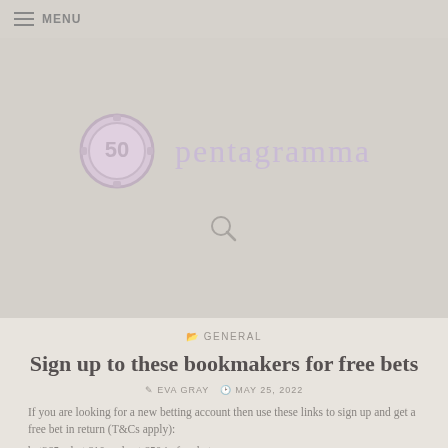MENU
[Figure (logo): Pentagramma website banner with casino chip logo showing '50' and stylized 'pentagramma' brand name text, plus a search icon below]
GENERAL
Sign up to these bookmakers for free bets
EVA GRAY  MAY 25, 2022
If you are looking for a new betting account then use these links to sign up and get a free bet in return (T&Cs apply):
bet365 – bet £10 and get £50 in free bets